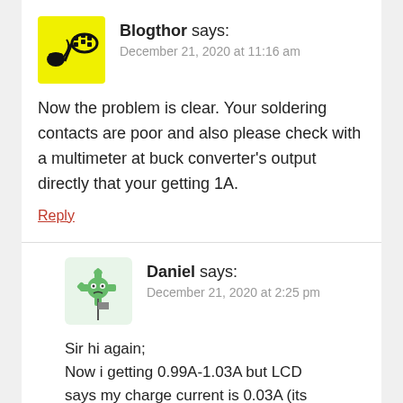[Figure (illustration): Yellow square avatar with black satellite/electronic component icon for user Blogthor]
Blogthor says:
December 21, 2020 at 11:16 am
Now the problem is clear. Your soldering contacts are poor and also please check with a multimeter at buck converter's output directly that your getting 1A.
Reply
[Figure (illustration): Green gear/cog avatar with sad face for user Daniel]
Daniel says:
December 21, 2020 at 2:25 pm
Sir hi again;
Now i getting 0.99A-1.03A but LCD says my charge current is 0.03A (its